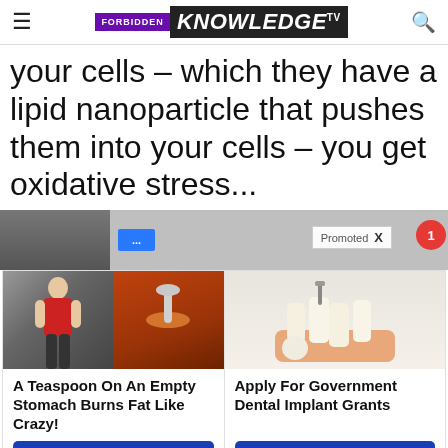FORBIDDEN KNOWLEDGE TV
your cells – which they have a lipid nanoparticle that pushes them into your cells – you get oxidative stress...
[Figure (screenshot): Promoted advertisement banner with blue button and red notification circle]
[Figure (photo): Left ad card image: fitness woman and spice powder with spoon]
[Figure (photo): Right ad card image: dental implant model]
A Teaspoon On An Empty Stomach Burns Fat Like Crazy!
Find Out More
Apply For Government Dental Implant Grants
Search Now